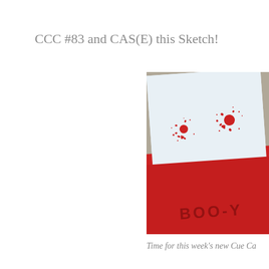CCC #83 and CAS(E) this Sketch!
[Figure (photo): Close-up photo of a card with a white panel showing two red ink splatter/splat stamps, and a red cardstock base layer with 'BOO-Y' text visible in dark embossed or debossed letters. The card is angled and resting on a gray surface.]
Time for this week's new Cue Ca